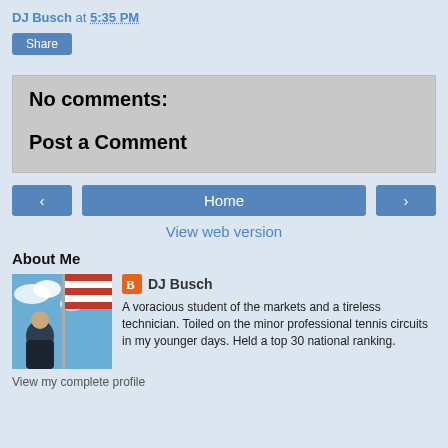DJ Busch at 5:35 PM
Share
No comments:
Post a Comment
‹
Home
›
View web version
About Me
[Figure (photo): Profile photo of DJ Busch, person in front of American flag]
DJ Busch
A voracious student of the markets and a tireless technician. Toiled on the minor professional tennis circuits in my younger days. Held a top 30 national ranking.
View my complete profile